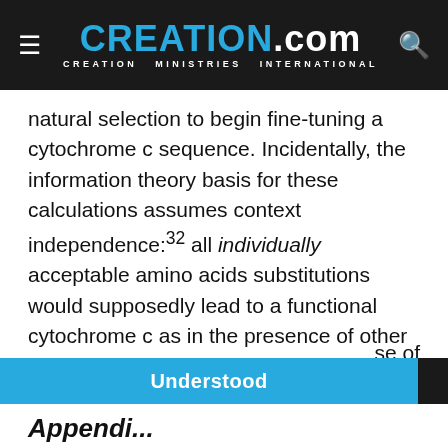CREATION.com — CREATION MINISTRIES INTERNATIONAL
natural selection to begin fine-tuning a cytochrome c sequence. Incidentally, the information theory basis for these calculations assumes context independence:32 all individually acceptable amino acids substitutions would supposedly lead to a functional cytochrome c as in the presence of other mutations. The true proportion of functional alternatives is surely many orders of
se of ntion.
We use cookies to improve your experience on creation.com and related sites.
Privacy Policy
Understood